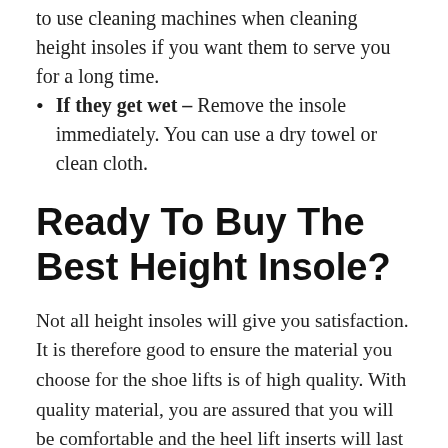to use cleaning machines when cleaning height insoles if you want them to serve you for a long time.
If they get wet – Remove the insole immediately. You can use a dry towel or clean cloth.
Ready To Buy The Best Height Insole?
Not all height insoles will give you satisfaction. It is therefore good to ensure the material you choose for the shoe lifts is of high quality. With quality material, you are assured that you will be comfortable and the heel lift inserts will last long.